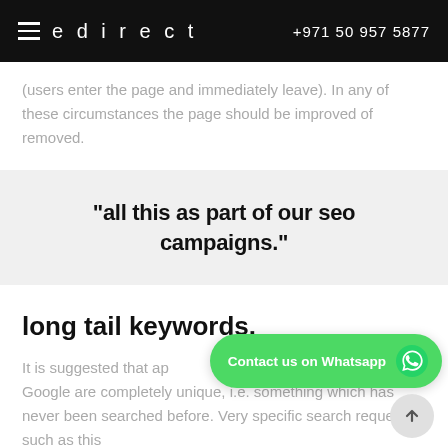edirect  +971 50 957 5877
(users enter the page and immediately leave). In any of these circumstances the page should be improved of removed.
“all this as part of our seo campaigns.”
long tail keywords.
It is suggested that ap searches through Google are completely unique, i.e. something which has never been searched before. Very specific search requests such as this